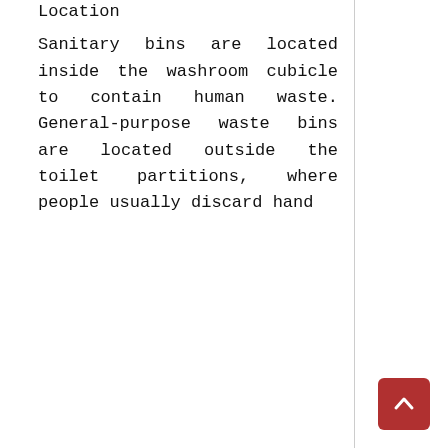Location
Sanitary bins are located inside the washroom cubicle to contain human waste. General-purpose waste bins are located outside the toilet partitions, where people usually discard hand